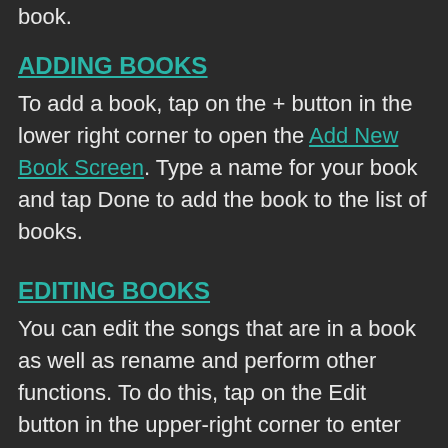book.
ADDING BOOKS
To add a book, tap on the + button in the lower right corner to open the Add New Book Screen. Type a name for your book and tap Done to add the book to the list of books.
EDITING BOOKS
You can edit the songs that are in a book as well as rename and perform other functions. To do this, tap on the Edit button in the upper-right corner to enter the Editing Mode and then